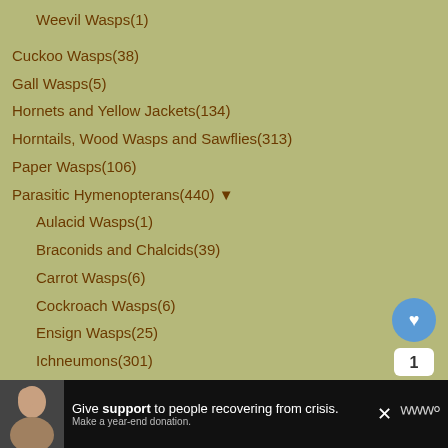Weevil Wasps(1)
Cuckoo Wasps(38)
Gall Wasps(5)
Hornets and Yellow Jackets(134)
Horntails, Wood Wasps and Sawflies(313)
Paper Wasps(106)
Parasitic Hymenopterans(440) ▼
Aulacid Wasps(1)
Braconids and Chalcids(39)
Carrot Wasps(6)
Cockroach Wasps(6)
Ensign Wasps(25)
Ichneumons(301)
Pelecinids(17)
Platygasterid Wasps(1)
Potter and Mason Wasps(46)
Scoliid Wasps(83)
spider wasps(129) ▼
[Figure (infographic): Heart/favorite button (blue circle with heart icon), count badge showing '1', and share button (white circle with share icon)]
[Figure (infographic): WHAT'S NEXT banner with thumbnail image of Spicebrush Swallowtail and text 'Spicebrush Swallowtail...']
[Figure (infographic): Advertisement bar at bottom: dark background with photo of person, text 'Give support to people recovering from crisis. Make a year-end donation.' with close X button and W logo]